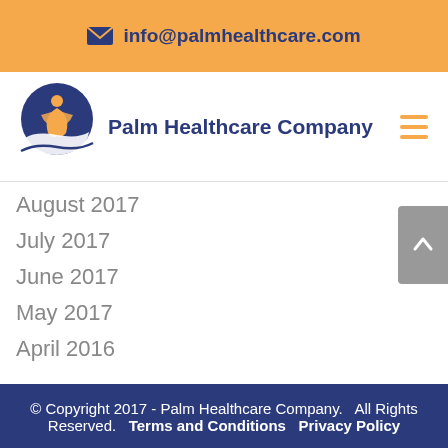✉ info@palmhealthcare.com
[Figure (logo): Palm Healthcare Company logo: blue circle with orange human figure, company name in dark blue bold text]
August 2017
July 2017
June 2017
May 2017
April 2016
© Copyright 2017 - Palm Healthcare Company. All Rights Reserved. Terms and Conditions Privacy Policy